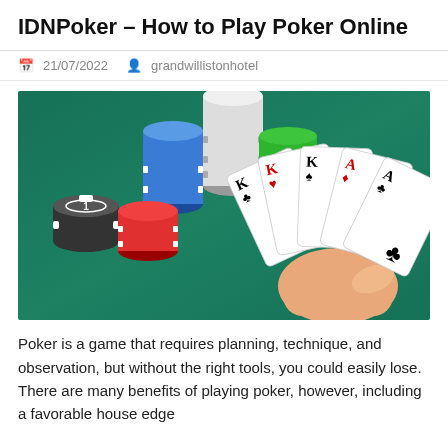IDNPoker – How to Play Poker Online
21/07/2022   grandwillistonhotel
[Figure (photo): A hand holding four playing cards showing K♣, K♥, K♠, A♦, A♣ against a green felt background with stacks of poker chips (black/white, blue/white, red/white, green/white) in the background.]
Poker is a game that requires planning, technique, and observation, but without the right tools, you could easily lose. There are many benefits of playing poker, however, including a favorable house edge